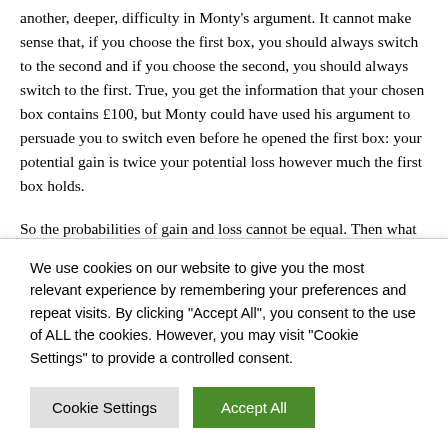another, deeper, difficulty in Monty's argument. It cannot make sense that, if you choose the first box, you should always switch to the second and if you choose the second, you should always switch to the first. True, you get the information that your chosen box contains £100, but Monty could have used his argument to persuade you to switch even before he opened the first box: your potential gain is twice your potential loss however much the first box holds.
So the probabilities of gain and loss cannot be equal. Then what
We use cookies on our website to give you the most relevant experience by remembering your preferences and repeat visits. By clicking "Accept All", you consent to the use of ALL the cookies. However, you may visit "Cookie Settings" to provide a controlled consent.